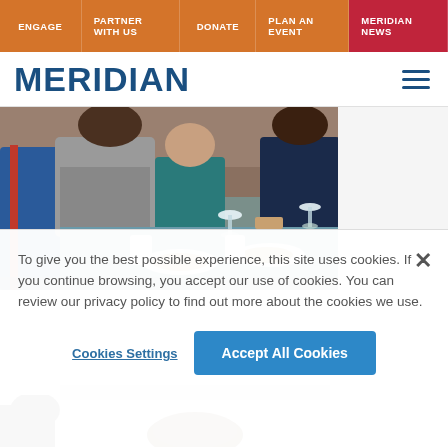ENGAGE | PARTNER WITH US | DONATE | PLAN AN EVENT | MERIDIAN NEWS
MERIDIAN
[Figure (photo): People seated around a table at a dinner event, with wine glasses and plates of food visible]
[Figure (photo): Partial view of people seated at a table, top of a person's head visible]
To give you the best possible experience, this site uses cookies. If you continue browsing, you accept our use of cookies. You can review our privacy policy to find out more about the cookies we use.
Cookies Settings
Accept All Cookies